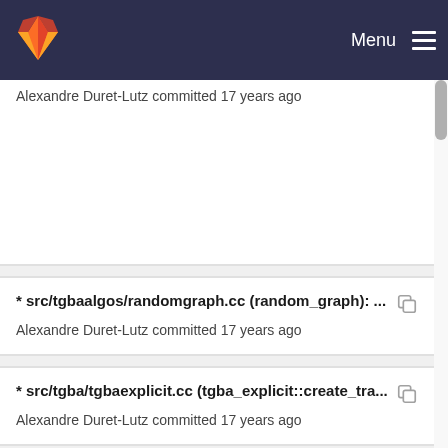GitLab — Menu
Alexandre Duret-Lutz committed 17 years ago
* src/tgbaalgos/randomgraph.cc (random_graph): ...
Alexandre Duret-Lutz committed 17 years ago
* src/tgba/tgbaexplicit.cc (tgba_explicit::create_tra...
Alexandre Duret-Lutz committed 17 years ago
* src/tgbaalgos/emptiness.cc: Suppress a horrible...